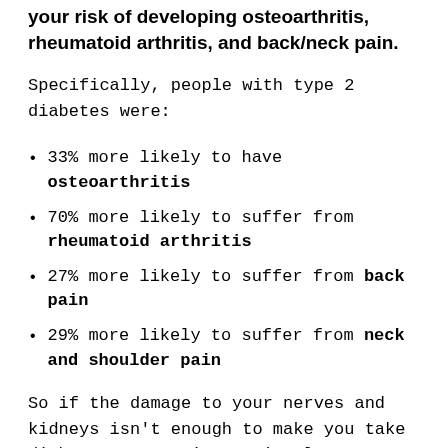your risk of developing osteoarthritis, rheumatoid arthritis, and back/neck pain.
Specifically, people with type 2 diabetes were:
33% more likely to have osteoarthritis
70% more likely to suffer from rheumatoid arthritis
27% more likely to suffer from back pain
29% more likely to suffer from neck and shoulder pain
So if the damage to your nerves and kidneys isn't enough to make you take diabetes prevention seriously...